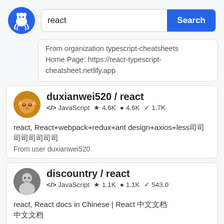[Figure (screenshot): GitHub logo - blue circle with white cat/octocat silhouette]
react
Search
From organization typescript-cheatsheets
Home Page: https://react-typescript-cheatsheet.netlify.app
duxianwei520 / react
<> JavaScript ★ 4.6K  ● 4.6K  ⑂ 1.7K
react, React+webpack+redux+ant design+axios+less福福福福福福福福
From user duxianwei520
discountry / react
<> JavaScript ★ 1.1K  ● 1.1K  ⑂ 543.0
react, React docs in Chinese | React 福福福 福福福